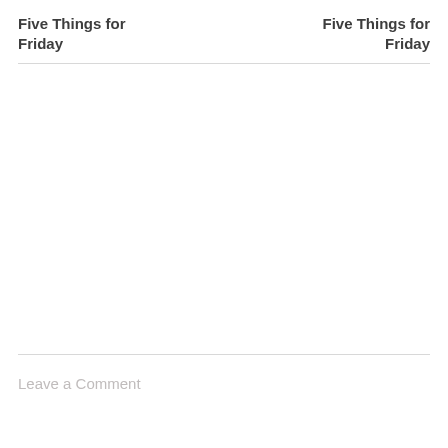Five Things for Friday
Five Things for Friday
Leave a Comment